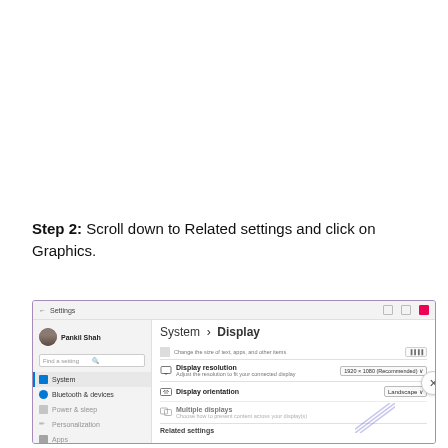Step 2: Scroll down to Related settings and click on Graphics.
[Figure (screenshot): Windows 11 Settings window showing System > Display page with Display resolution set to 1920 × 1080 (Recommended) and Display orientation set to Landscape. Left sidebar shows System, Bluetooth & devices, Power & sleep, Personalization, Apps. Bottom shows Related settings section.]